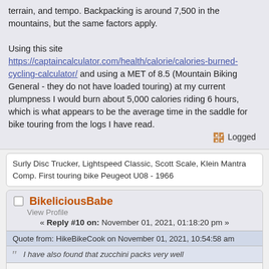terrain, and tempo. Backpacking is around 7,500 in the mountains, but the same factors apply.

Using this site https://captaincalculator.com/health/calorie/calories-burned-cycling-calculator/ and using a MET of 8.5 (Mountain Biking General - they do not have loaded touring) at my current plumpness I would burn about 5,000 calories riding 6 hours, which is what appears to be the average time in the saddle for bike touring from the logs I have read.
Logged
Surly Disc Trucker, Lightspeed Classic, Scott Scale, Klein Mantra Comp. First touring bike Peugeot U08 - 1966
BikeliciousBabe
View Profile
« Reply #10 on: November 01, 2021, 01:18:20 pm »
Quote from: HikeBikeCook on November 01, 2021, 10:54:58 am
I have also found that zucchini packs very well
Yep. I often pick one up to include in dinner.  Easy to cut up as well.
Logged